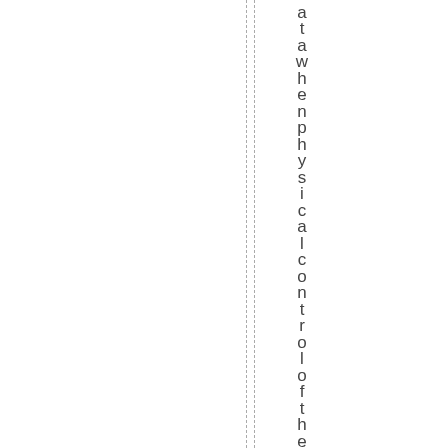at a when physical control of the dri